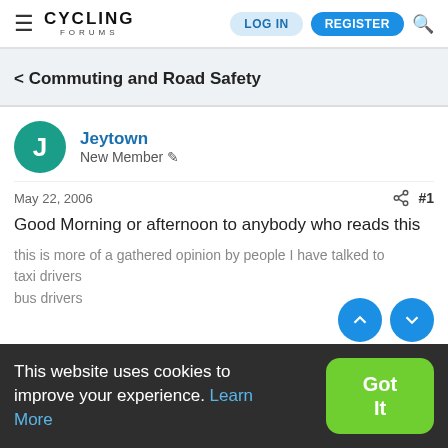CYCLING FORUMS | LOG IN | REGISTER
< Commuting and Road Safety
Jeytown
New Member
May 22, 2006 #1
Good Morning or afternoon to anybody who reads this
this is more of a gathered opinion by people I have talked to
taxi drivers
This website uses cookies to improve your experience. Learn More
bus drivers